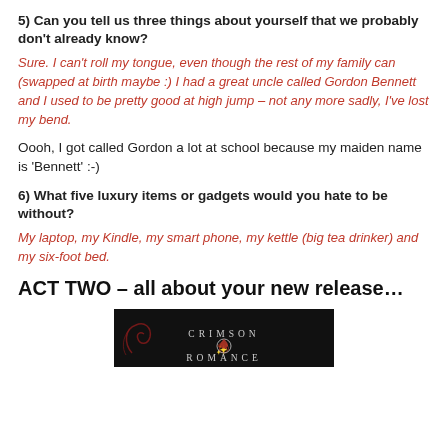5) Can you tell us three things about yourself that we probably don't already know?
Sure. I can't roll my tongue, even though the rest of my family can (swapped at birth maybe :) I had a great uncle called Gordon Bennett and I used to be pretty good at high jump – not any more sadly, I've lost my bend.
Oooh, I got called Gordon a lot at school because my maiden name is 'Bennett' :-)
6) What five luxury items or gadgets would you hate to be without?
My laptop, my Kindle, my smart phone, my kettle (big tea drinker) and my six-foot bed.
ACT TWO – all about your new release…
[Figure (logo): Crimson Romance logo — dark background with decorative swirl, text 'CRIMSON ROMANCE' in spaced capitals]